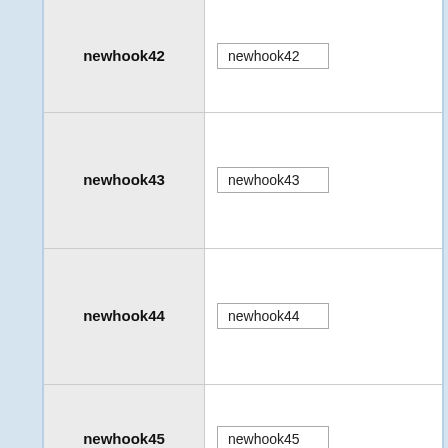| Field | Value |
| --- | --- |
| newhook42 | newhook42 |
| newhook43 | newhook43 |
| newhook44 | newhook44 |
| newhook45 | newhook45 |